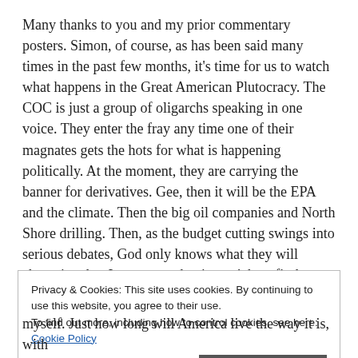Many thanks to you and my prior commentary posters. Simon, of course, as has been said many times in the past few months, it's time for us to watch what happens in the Great American Plutocracy. The COC is just a group of oligarchs speaking in one voice. They enter the fray any time one of their magnates gets the hots for what is happening politically. At the moment, they are carrying the banner for derivatives. Gee, then it will be the EPA and the climate. Then the big oil companies and North Shore drilling. Then, as the budget cutting swings into serious debates, God only knows what they will champion, but I guarantee that it won't benefit the average citizen. The Egyptians armed themselves with Facebook, Twitter,
Privacy & Cookies: This site uses cookies. By continuing to use this website, you agree to their use. To find out more, including how to control cookies, see here: Cookie Policy
Close and accept
myself. Just how long will America live the way it is, with